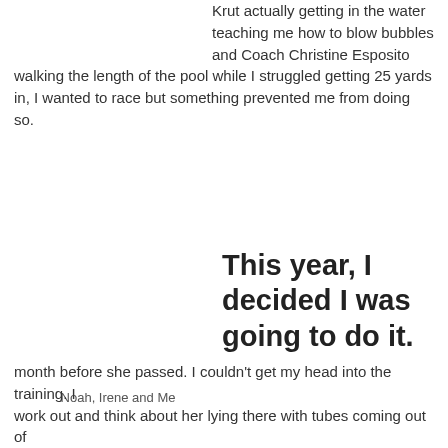Krut actually getting in the water teaching me how to blow bubbles and Coach Christine Esposito walking the length of the pool while I struggled getting 25 yards in, I wanted to race but something prevented me from doing so.
This year, I decided I was going to do it.
Noah, Irene and Me
I hadn't raced at all this year due to the fact that my sister had an aneurysm and stroke and was in a coma for a month before she passed. I couldn't get my head into the training. I work out and think about her lying there with tubes coming out of